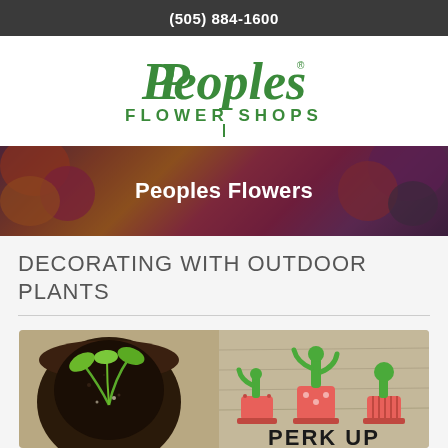(505) 884-1600
[Figure (logo): Peoples Flower Shops logo in green script and sans-serif text]
[Figure (photo): Banner with colorful flower arrangement background and 'Peoples Flowers' title overlay]
DECORATING WITH OUTDOOR PLANTS
[Figure (photo): Article image showing a seedling in a soil pot on the left and illustrated potted cacti/plants with 'PERK UP' text on the right]